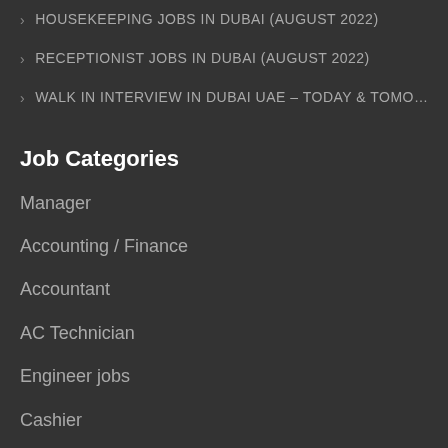HOUSEKEEPING JOBS IN DUBAI (AUGUST 2022)
RECEPTIONIST JOBS IN DUBAI (AUGUST 2022)
WALK IN INTERVIEW IN DUBAI UAE – TODAY & TOMO…
Job Categories
Manager
Accounting / Finance
Accountant
AC Technician
Engineer jobs
Cashier
Human Resources
Admin Executive
Management Trainee Officers – Imports